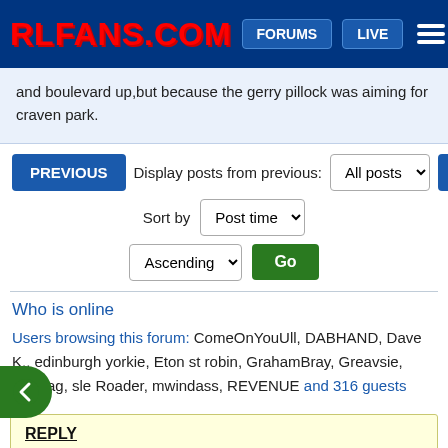RLFANS.COM | FORUMS | LIVE
and boulevard up,but because the gerry pillock was aiming for craven park.
PREVIOUS | Display posts from previous: All posts | NEXT | Sort by Post time | Ascending | Go
Who is online
Users browsing this forum: ComeOnYouUll, DABHAND, Dave K., edinburgh yorkie, Eton st robin, GrahamBray, Greavsie, Hasbag, sle Roader, mwindass, REVENUE and 316 guests
REPLY
Subject:
Message: